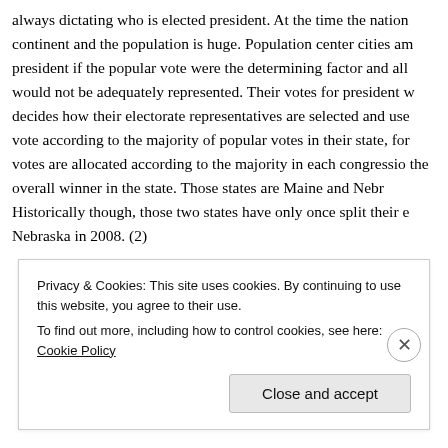always dictating who is elected president. At the time the nation continent and the population is huge. Population center cities am president if the popular vote were the determining factor and all would not be adequately represented. Their votes for president w decides how their electorate representatives are selected and use vote according to the majority of popular votes in their state, for votes are allocated according to the majority in each congressio the overall winner in the state. Those states are Maine and Nebr Historically though, those two states have only once split their e Nebraska in 2008. (2)
Privacy & Cookies: This site uses cookies. By continuing to use this website, you agree to their use.
To find out more, including how to control cookies, see here: Cookie Policy